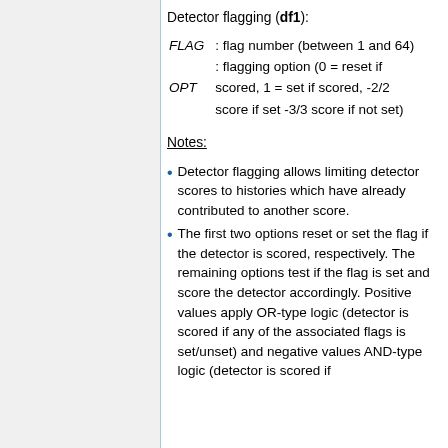Detector flagging (df1):
FLAG : flag number (between 1 and 64)
OPT : flagging option (0 = reset if scored, 1 = set if scored, -2/2 score if set -3/3 score if not set)
Notes:
Detector flagging allows limiting detector scores to histories which have already contributed to another score.
The first two options reset or set the flag if the detector is scored, respectively. The remaining options test if the flag is set and score the detector accordingly. Positive values apply OR-type logic (detector is scored if any of the associated flags is set/unset) and negative values AND-type logic (detector is scored if